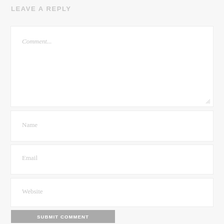LEAVE A REPLY
Comment...
Name
Email
Website
SUBMIT COMMENT